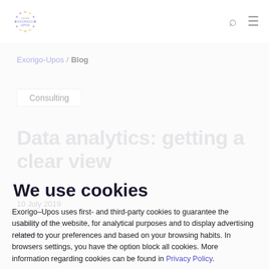[Figure (logo): Exorigo-Upos group logo with circular dotted design and text]
Exorigo-Upos / Blog
Consulting
Data analytics: getting a clear view
10 July 2019
Read more ↓
We use cookies
Exorigo–Upos uses first- and third-party cookies to guarantee the usability of the website, for analytical purposes and to display advertising related to your preferences and based on your browsing habits. In browsers settings, you have the option block all cookies. More information regarding cookies can be found in Privacy Policy.
Accept all cookies